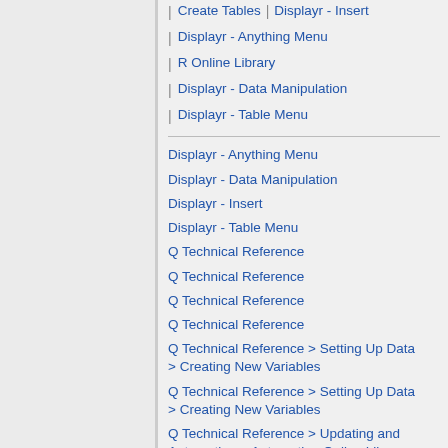Create Tables | Displayr - Insert
Displayr - Anything Menu
R Online Library
Displayr - Data Manipulation
Displayr - Table Menu
Displayr - Anything Menu
Displayr - Data Manipulation
Displayr - Insert
Displayr - Table Menu
Q Technical Reference
Q Technical Reference
Q Technical Reference
Q Technical Reference
Q Technical Reference > Setting Up Data > Creating New Variables
Q Technical Reference > Setting Up Data > Creating New Variables
Q Technical Reference > Updating and Automation > Automation Online Library
Q Technical Reference > Updating and Automation > JavaScript > QScript >